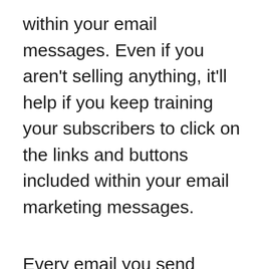within your email messages. Even if you aren't selling anything, it'll help if you keep training your subscribers to click on the links and buttons included within your email marketing messages.
Every email you send should have a call to action. Have your